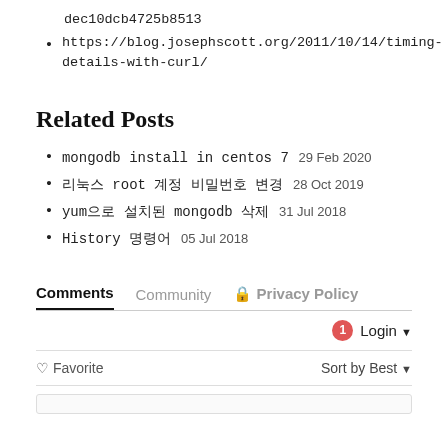dec10dcb4725b8513
https://blog.josephscott.org/2011/10/14/timing-details-with-curl/
Related Posts
mongodb install in centos 7  29 Feb 2020
리눅스 root 계정 비밀번호 변경  28 Oct 2019
yum으로 설치된 mongodb 삭제  31 Jul 2018
History 명령어  05 Jul 2018
Comments  Community  🔒 Privacy Policy
🔔1  Login ▾
♡ Favorite    Sort by Best ▾